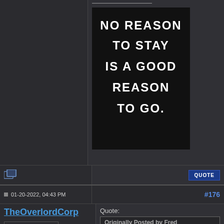[Figure (illustration): Black background image with large white serif-style text reading: NO REASON TO STAY IS A GOOD REASON TO GO.]
QUOTE
01-20-2022, 04:43 PM
#176
TheOverlordCorp
Brass Knucklehead
Quote:
Originally Posted by Fred